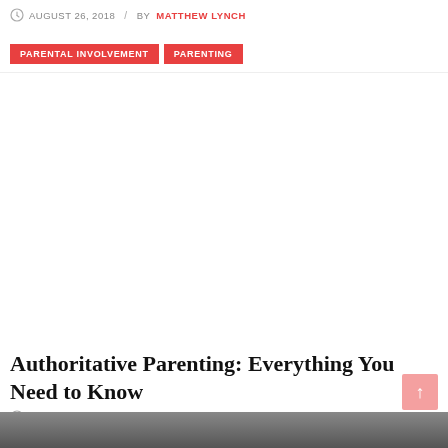AUGUST 26, 2018 / BY MATTHEW LYNCH
PARENTAL INVOLVEMENT
PARENTING
[Figure (photo): Large image placeholder (white/empty area) for a parenting article]
Authoritative Parenting: Everything You Need to Know
JULY 4, 2022 / BY MATTHEW LYNCH
[Figure (photo): Partial image strip at bottom of page]